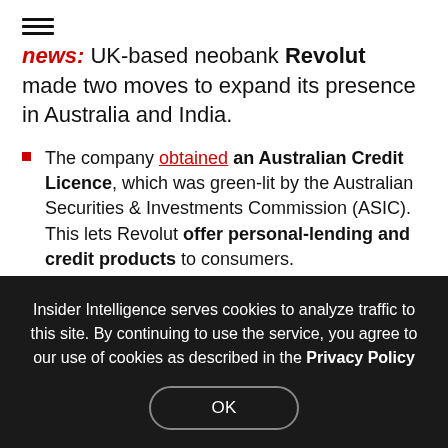≡ news: UK-based neobank Revolut made two moves to expand its presence in Australia and India.
The company obtained an Australian Credit Licence, which was green-lit by the Australian Securities & Investments Commission (ASIC). This lets Revolut offer personal-lending and credit products to consumers.
Revolut acquired Arvog Forex, an India-based financial-services company that offers multicurrency
Insider Intelligence serves cookies to analyze traffic to this site. By continuing to use the service, you agree to our use of cookies as described in the Privacy Policy